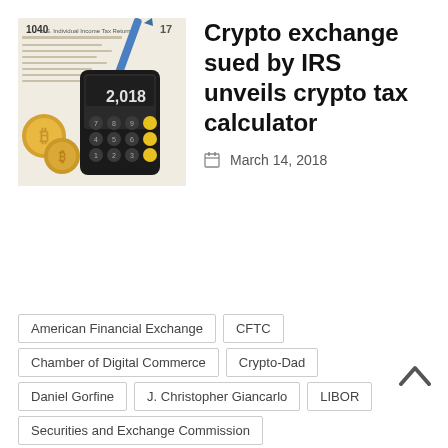[Figure (photo): Photo of a calculator showing '2,018' on screen, placed on a 1040 US Individual Income Tax Return form, with gold bitcoin coins and a blue pen visible.]
Crypto exchange sued by IRS unveils crypto tax calculator
March 14, 2018
American Financial Exchange
CFTC
Chamber of Digital Commerce
Crypto-Dad
Daniel Gorfine
J. Christopher Giancarlo
LIBOR
Securities and Exchange Commission
Securities and Exchange Commssion
Senate Banking Committee
Willkie Farr & Gallagher